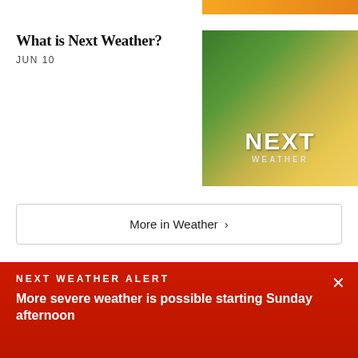[Figure (other): Orange gradient banner bar at top right]
What is Next Weather?
JUN 10
[Figure (photo): Next Weather thumbnail image showing green grass/sunlight with 'NEXT WEATHER' logo overlay]
More in Weather ›
Latest Videos
[Figure (screenshot): Video thumbnail strip showing dark/grey tones]
NEXT WEATHER ALERT
More severe weather is possible starting Sunday afternoon